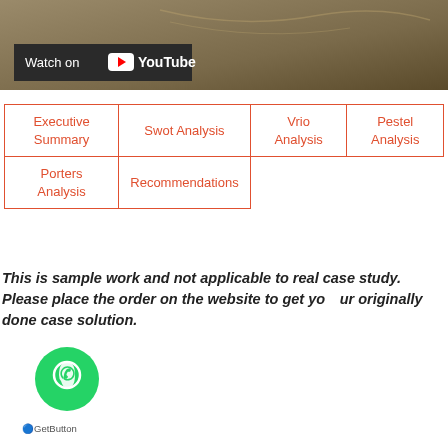[Figure (screenshot): YouTube video thumbnail with brownish/tan background and 'Watch on YouTube' overlay bar]
| Executive Summary | Swot Analysis | Vrio Analysis | Pestel Analysis |
| Porters Analysis | Recommendations |  |  |
This is sample work and not applicable to real case study. Please place the order on the website to get your originally done case solution.
[Figure (illustration): WhatsApp GetButton floating chat button (green circle with WhatsApp icon) and GetButton label]